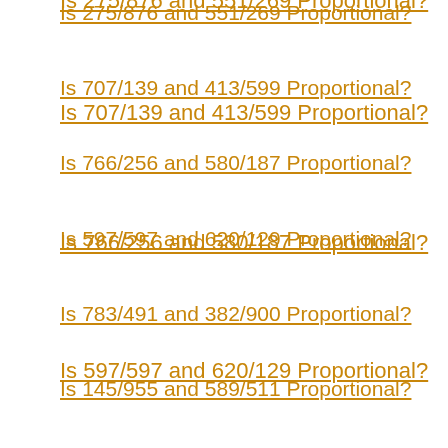Is 275/876 and 551/269 Proportional?
Is 707/139 and 413/599 Proportional?
Is 766/256 and 580/187 Proportional?
Is 597/597 and 620/129 Proportional?
Is 783/491 and 382/900 Proportional?
Is 145/955 and 589/511 Proportional?
Is 422/838 and 713/211 Proportional?
Is 499/216 and 805/992 Proportional?
Is 45/646 and 55/16 Proportional?